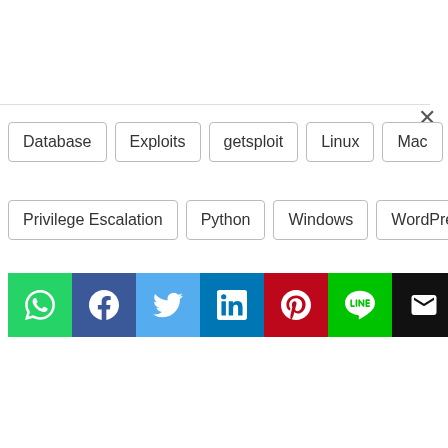Database
Exploits
getsploit
Linux
Mac
PHP
Privilege Escalation
Python
Windows
WordPress
[Figure (infographic): Row of 7 social share buttons: WhatsApp (green), Facebook (dark blue), Twitter (light blue), LinkedIn (blue), Pinterest (red), LINE (green), Email (black)]